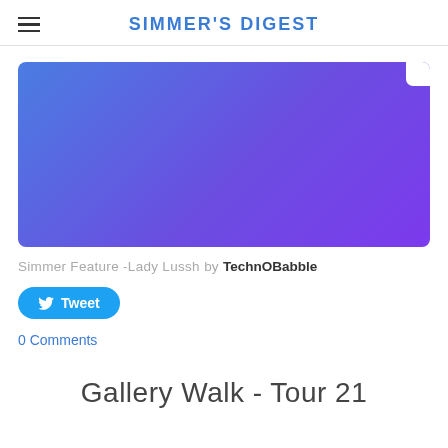SIMMER'S DIGEST
[Figure (illustration): A rectangular banner image with a blue-to-purple gradient background, with a small white notch in the upper-right corner.]
Simmer Feature -Lady Lussh by TechnOBabble
Tweet
0 Comments
Gallery Walk - Tour 21